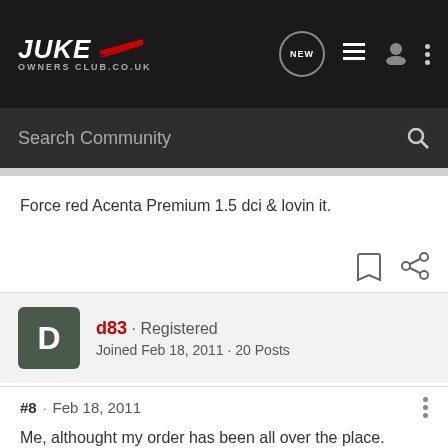JUKE Owners Club.co.uk — navigation bar with NEW, list, user, and more icons
Search Community
Force red Acenta Premium 1.5 dci & lovin it.
d83 · Registered
Joined Feb 18, 2011 · 20 Posts
#8 · Feb 18, 2011
Me, althought my order has been all over the place.

Hope there are no more hold up's as my dealer is off on Holiday for 2 weeks after the first week in March and i'm affriad it could